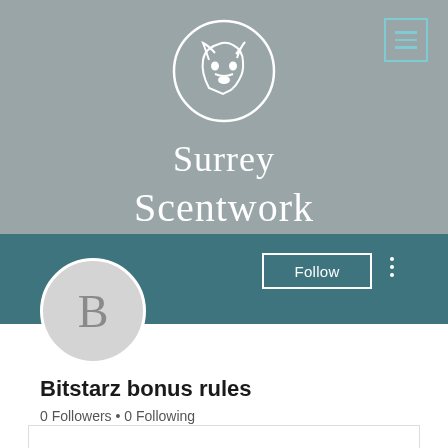[Figure (screenshot): Surrey Scentwork social media profile page screenshot. Shows a grey banner with a circular dog logo, 'Surrey Scentwork' text in white serif font, a teal stripe with a Follow button and three-dot menu, a grey avatar circle with letter B, profile name 'Bitstarz bonus rules', follower count '0 Followers • 0 Following', and a partially visible card at the bottom.]
Bitstarz bonus rules
0 Followers • 0 Following